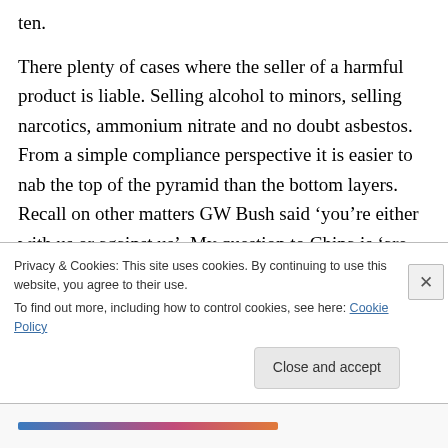ten.
There plenty of cases where the seller of a harmful product is liable. Selling alcohol to minors, selling narcotics, ammonium nitrate and no doubt asbestos. From a simple compliance perspective it is easier to nab the top of the pyramid than the bottom layers. Recall on other matters GW Bush said ‘you’re either with us or against us’. My question to China is ‘are you serious about reducing emissions?’ That’s all
Privacy & Cookies: This site uses cookies. By continuing to use this website, you agree to their use.
To find out more, including how to control cookies, see here: Cookie Policy